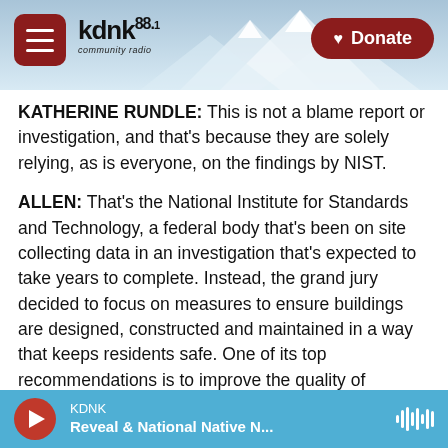[Figure (screenshot): KDNK 88.1 community radio website header with mountain background, hamburger menu button, logo, and Donate button]
KATHERINE RUNDLE: This is not a blame report or investigation, and that's because they are solely relying, as is everyone, on the findings by NIST.
ALLEN: That's the National Institute for Standards and Technology, a federal body that's been on site collecting data in an investigation that's expected to take years to complete. Instead, the grand jury decided to focus on measures to ensure buildings are designed, constructed and maintained in a way that keeps residents safe. One of its top recommendations is to improve the quality of inspections of aging condo buildings. Under current
KDNK
Reveal & National Native N...